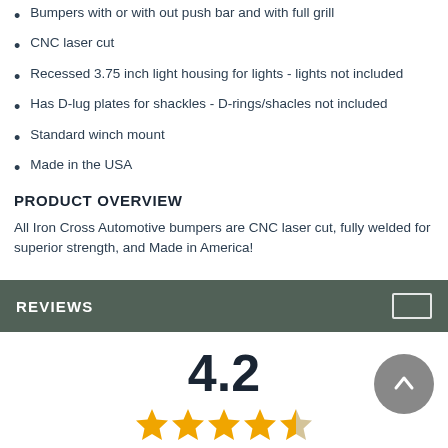Bumpers with or with out push bar and with full grill
CNC laser cut
Recessed 3.75 inch light housing for lights - lights not included
Has D-lug plates for shackles - D-rings/shacles not included
Standard winch mount
Made in the USA
PRODUCT OVERVIEW
All Iron Cross Automotive bumpers are CNC laser cut, fully welded for superior strength, and Made in America!
REVIEWS
4.2
12 Customer ratings